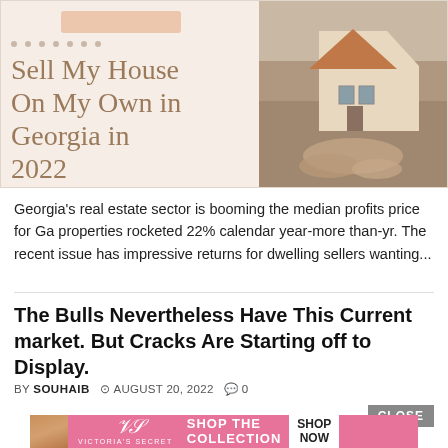[Figure (illustration): Article header image for 'Sell My House On My Own in Georgia in 2022' — decorative background with beige tones, dot pattern, title text in serif font, and a photo of hands holding a model house on the right side.]
Georgia's real estate sector is booming the median profits price for Ga properties rocketed 22% calendar year-more than-yr. The recent issue has impressive returns for dwelling sellers wanting...
The Bulls Nevertheless Have This Current market. But Cracks Are Starting off to Display.
BY SOUHAIB  AUGUST 20, 2022  0
[Figure (photo): Victoria's Secret advertisement banner with a model, VS logo, 'SHOP THE COLLECTION' text, and 'SHOP NOW' button on pink background.]